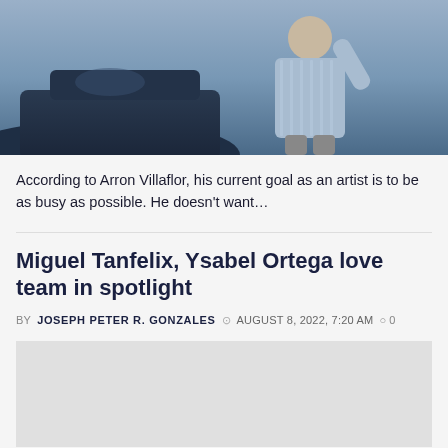[Figure (photo): Person in blue striped shirt standing by a dark blue car, raising one hand]
According to Arron Villaflor, his current goal as an artist is to be as busy as possible. He doesn't want…
Miguel Tanfelix, Ysabel Ortega love team in spotlight
BY JOSEPH PETER R. GONZALES  AUGUST 8, 2022, 7:20 AM  0
[Figure (photo): Article image placeholder area]